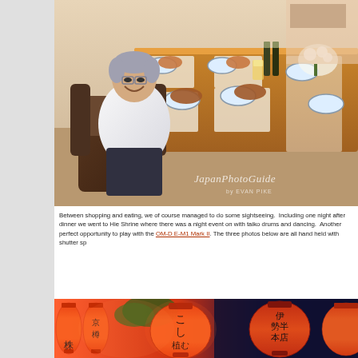[Figure (photo): A smiling elderly Asian man in a white shirt and dark pants sits relaxed in a leather chair at a dining table set with Japanese food, beer bottles, dishes, and floral arrangements. Other people are partially visible in the background. Watermark: Japan Photo Guide by Evan Pike.]
Between shopping and eating, we of course managed to do some sightseeing. Including one night after dinner we went to Hie Shrine where there was a night event on with taiko drums and dancing. Another perfect opportunity to play with the OM-D E-M1 Mark II. The three photos below are all hand held with shutter sp
[Figure (photo): Glowing orange Japanese paper lanterns (chochin) with black kanji characters, displayed at a night shrine event. Some lanterns show text including partial characters visible as 株京樽, こし植む, 伊勢半本店 and others.]